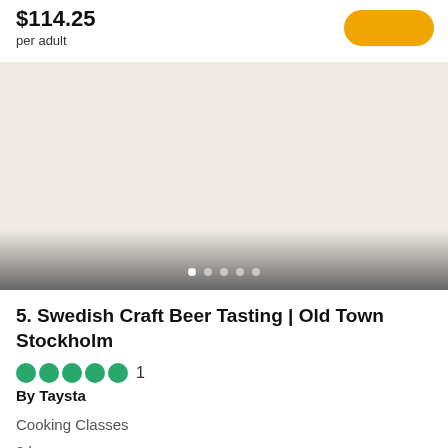$114.25
per adult
[Figure (photo): Image carousel placeholder with beige/off-white background, showing 5 navigation dots at the bottom with the first dot active (white) and the rest semi-transparent. Dark gradient at bottom of image area.]
5. Swedish Craft Beer Tasting | Old Town Stockholm
●●●●● 1
By Taysta
Cooking Classes
2 hours